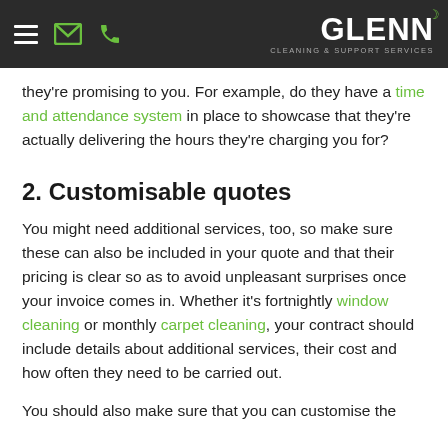Glenn Cleaning & Support Services — navigation bar with hamburger, envelope, phone icons and Glenn logo
they're promising to you. For example, do they have a time and attendance system in place to showcase that they're actually delivering the hours they're charging you for?
2. Customisable quotes
You might need additional services, too, so make sure these can also be included in your quote and that their pricing is clear so as to avoid unpleasant surprises once your invoice comes in. Whether it's fortnightly window cleaning or monthly carpet cleaning, your contract should include details about additional services, their cost and how often they need to be carried out.
You should also make sure that you can customise the